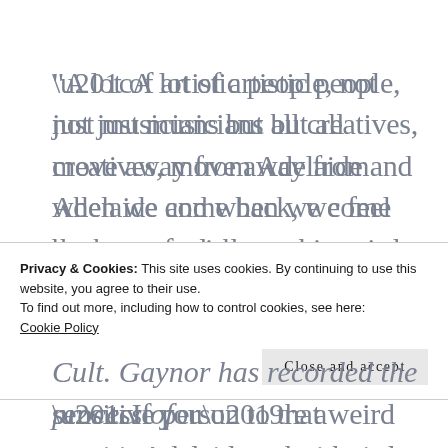“A lot of artistic people, not just musicians but all creatives, move away from Adelaide and when we come back, we feel that same weird psychic energy that creates a freaky feeling, but also good artists,” says Gaynor. “If you’re a sensitive person to that weird energy, Adelaide can either freak you out or it
Privacy & Cookies: This site uses cookies. By continuing to use this website, you agree to their use.
To find out more, including how to control cookies, see here:
Cookie Policy
Close and accept
Cult. Gaynor has recorded the process of